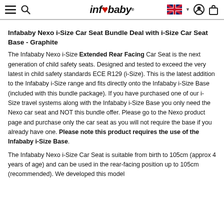infababy
Infababy Nexo i-Size Car Seat Bundle Deal with i-Size Car Seat Base - Graphite
The Infababy Nexo i-Size Extended Rear Facing Car Seat is the next generation of child safety seats. Designed and tested to exceed the very latest in child safety standards ECE R129 (i-Size). This is the latest addition to the Infababy i-Size range and fits directly onto the Infababy i-Size Base (included with this bundle package). If you have purchased one of our i-Size travel systems along with the Infababy i-Size Base you only need the Nexo car seat and NOT this bundle offer. Please go to the Nexo product page and purchase only the car seat as you will not require the base if you already have one. Please note this product requires the use of the Infababy i-Size Base.
The Infababy Nexo i-Size Car Seat is suitable from birth to 105cm (approx 4 years of age) and can be used in the rear-facing position up to 105cm (recommended). We developed this model